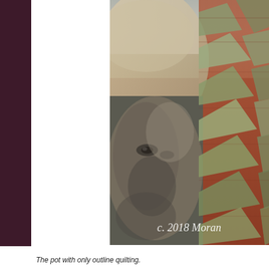[Figure (photo): A close-up photograph of a textile art quilt featuring a face printed or painted onto fabric, surrounded by triangular fabric mountain-like shapes in greens and earth tones on a rust/terracotta background. The upper portion shows a sandy/cloudy sky area. A copyright watermark 'c. 2018 Moran' is overlaid near the bottom.]
The pot with only outline quilting.